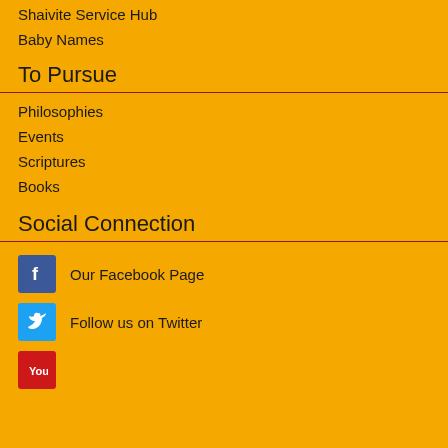Shaivite Service Hub
Baby Names
To Pursue
Philosophies
Events
Scriptures
Books
Social Connection
Our Facebook Page
Follow us on Twitter
You